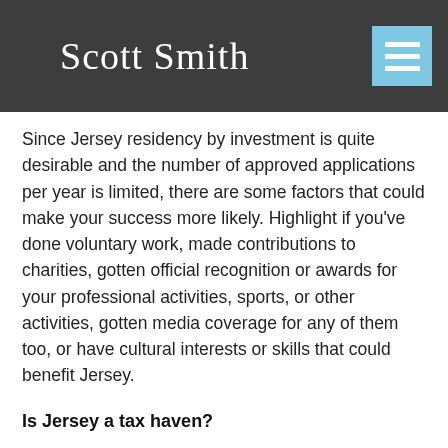Scott Smith
Since Jersey residency by investment is quite desirable and the number of approved applications per year is limited, there are some factors that could make your success more likely. Highlight if you've done voluntary work, made contributions to charities, gotten official recognition or awards for your professional activities, sports, or other activities, gotten media coverage for any of them too, or have cultural interests or skills that could benefit Jersey.
Is Jersey a tax haven?